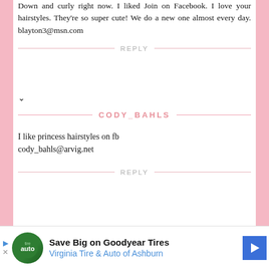Down and curly right now. I liked Join on Facebook. I love your hairstyles. They're so super cute! We do a new one almost every day. blayton3@msn.com
REPLY
CODY_BAHLS
I like princess hairstyles on fb
cody_bahls@arvig.net
REPLY
[Figure (infographic): Advertisement banner: Save Big on Goodyear Tires - Virginia Tire & Auto of Ashburn]